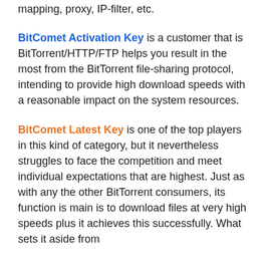mapping, proxy, IP-filter, etc.
BitComet Activation Key is a customer that is BitTorrent/HTTP/FTP helps you result in the most from the BitTorrent file-sharing protocol, intending to provide high download speeds with a reasonable impact on the system resources.
BitComet Latest Key is one of the top players in this kind of category, but it nevertheless struggles to face the competition and meet individual expectations that are highest. Just as with any the other BitTorrent consumers, its function is main is to download files at very high speeds plus it achieves this successfully. What sets it aside from